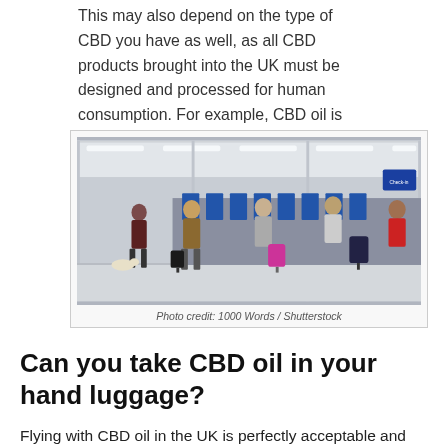This may also depend on the type of CBD you have as well, as all CBD products brought into the UK must be designed and processed for human consumption. For example, CBD oil is legal whereas CBD buds or flowers are not.
[Figure (photo): Airport check-in hall with travelers and luggage queuing at check-in desks. Photo credit: 1000 Words / Shutterstock]
Photo credit: 1000 Words / Shutterstock
Can you take CBD oil in your hand luggage?
Flying with CBD oil in the UK is perfectly acceptable and